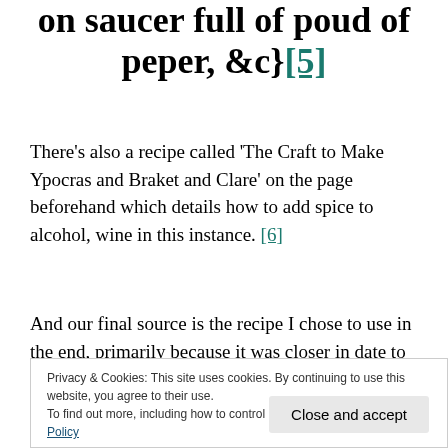on saucer full of poud of peper, &c}[5]
There's also a recipe called 'The Craft to Make Ypocras and Braket and Clare' on the page beforehand which details how to add spice to alcohol, wine in this instance. [6]
And our final source is the recipe I chose to use in the end, primarily because it was closer in date to the medieval ale I had made. It comes from 'Goud Kokery' in the Cure on Inglvsch edited by Constance B. Hieatt
Privacy & Cookies: This site uses cookies. By continuing to use this website, you agree to their use. To find out more, including how to control cookies, see here: Cookie Policy
the second Vorberg's modern translation